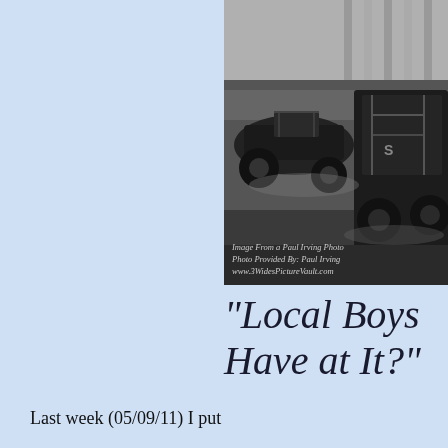[Figure (photo): Black and white photo of two dirt track racing cars competing on a dirt track, with a wall in the background. Image credit overlay reads: Image From a Paul Irving Photo / Photo Provided By: Paul Irving / www.3WidesPictureVault.com]
"Local Boys Have at It?"
Last week (05/09/11) I put